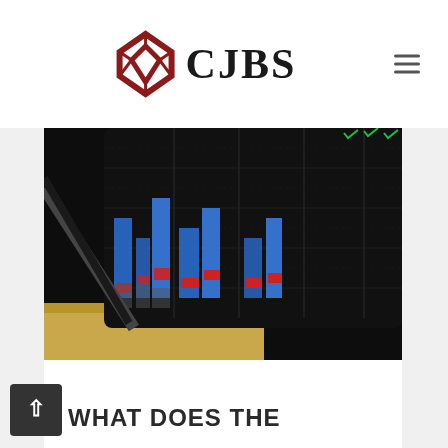CJBS
[Figure (photo): Close-up photograph of a tablet/screen displaying financial trading charts with blue, red, and grey candlestick bars on a dark background, placed on a wooden surface]
CJBS
WHAT DOES THE